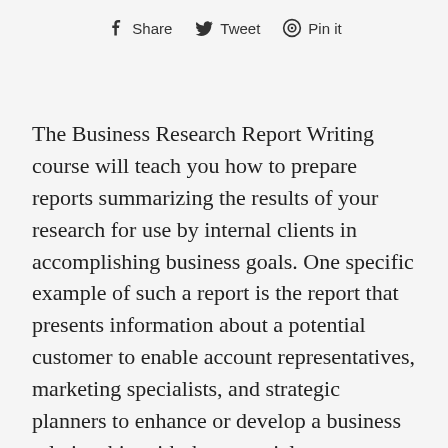Share  Tweet  Pin it
The Business Research Report Writing course will teach you how to prepare reports summarizing the results of your research for use by internal clients in accomplishing business goals. One specific example of such a report is the report that presents information about a potential customer to enable account representatives, marketing specialists, and strategic planners to enhance or develop a business relationship with the potential customer. The course will teach you how to decide what information is pertinent and how to summarize or synthesize the information into a coherent presentation without interjecting bias.
The online lessons contain clear explanations and many